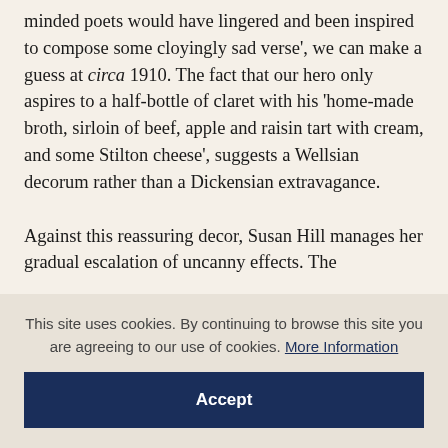minded poets would have lingered and been inspired to compose some cloyingly sad verse', we can make a guess at circa 1910. The fact that our hero only aspires to a half-bottle of claret with his 'home-made broth, sirloin of beef, apple and raisin tart with cream, and some Stilton cheese', suggests a Wellsian decorum rather than a Dickensian extravagance.
Against this reassuring decor, Susan Hill manages her gradual escalation of uncanny effects. The
This site uses cookies. By continuing to browse this site you are agreeing to our use of cookies. More Information
Accept